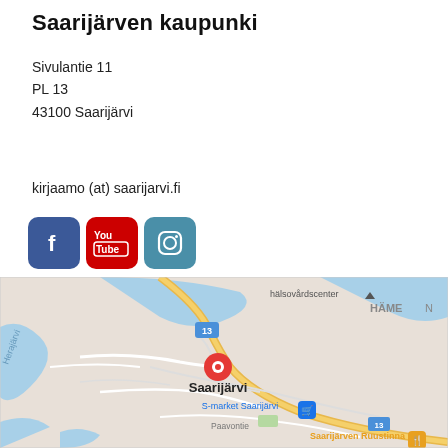Saarijärven kaupunki
Sivulantie 11
PL 13
43100 Saarijärvi
kirjaamo (at) saarijarvi.fi
[Figure (other): Social media icons: Facebook, YouTube, Instagram]
[Figure (map): Google Maps showing Saarijärvi city center with a red location pin, surrounding lakes (Herajärvi), road 13, S-market Saarijärvi, Saarijärven Ruustinna restaurant, and hälsovårdscenter label. HÄME text visible top right.]